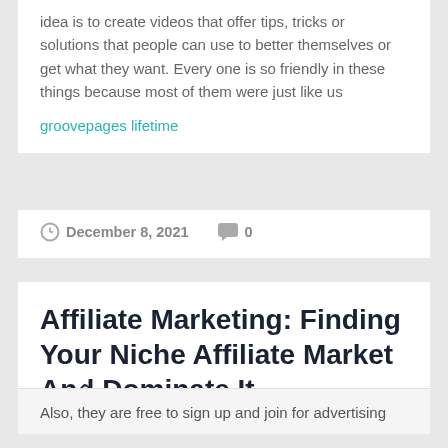idea is to create videos that offer tips, tricks or solutions that people can use to better themselves or get what they want. Every one is so friendly in these things because most of them were just like us
groovepages lifetime
December 8, 2021   0
Affiliate Marketing: Finding Your Niche Affiliate Market And Dominate It
Also, they are free to sign up and join for advertising